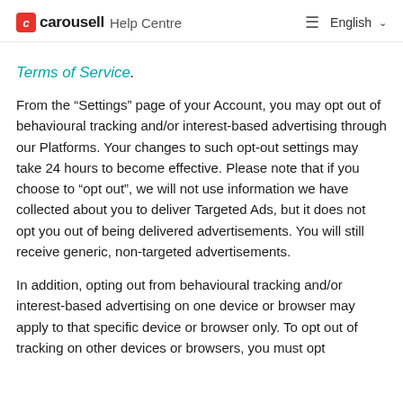carousell Help Centre  ≡ English
Terms of Service.
From the “Settings” page of your Account, you may opt out of behavioural tracking and/or interest-based advertising through our Platforms. Your changes to such opt-out settings may take 24 hours to become effective. Please note that if you choose to “opt out”, we will not use information we have collected about you to deliver Targeted Ads, but it does not opt you out of being delivered advertisements. You will still receive generic, non-targeted advertisements.
In addition, opting out from behavioural tracking and/or interest-based advertising on one device or browser may apply to that specific device or browser only. To opt out of tracking on other devices or browsers, you must opt